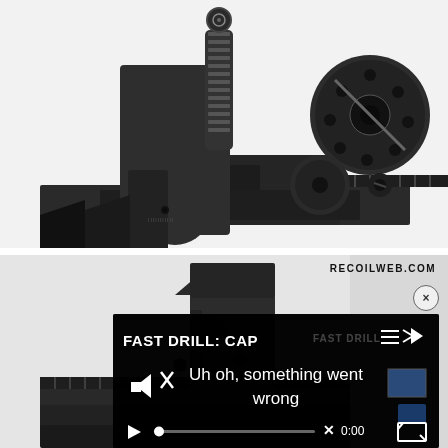[Figure (photo): Close-up photograph of a black metal AR-style rifle rear iron sight assembly mounted on a Picatinny rail. The sight shows a dual aperture with an adjustment knob, set against a white background.]
[Figure (photo): Close-up photograph of a black metal AR-style rifle front iron sight / sight tower component on a rail, with a semi-transparent video player overlay showing 'FAST DRILL: CAP' title and an error message 'Uh oh, something went wrong' from RECOILWEB.COM. The overlay includes playback controls showing 0:00 time.]
RECOILWEB.COM